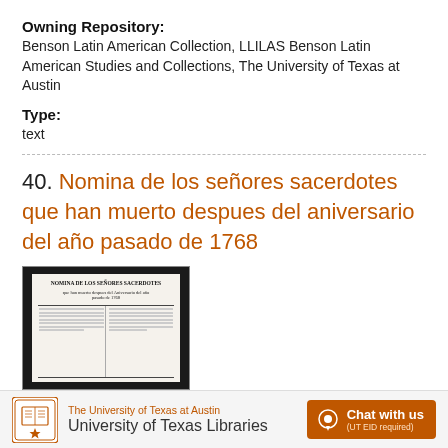Owning Repository:
Benson Latin American Collection, LLILAS Benson Latin American Studies and Collections, The University of Texas at Austin
Type:
text
40. Nomina de los señores sacerdotes que han muerto despues del aniversario del año pasado de 1768
[Figure (photo): Thumbnail image of a historical Spanish document titled 'Nomina de los señores sacerdotes que han muerto despues del aniversario del año pasado de 1768', showing printed text in columns on aged paper with dark border.]
The University of Texas at Austin University of Texas Libraries  Chat with us (UT EID required)